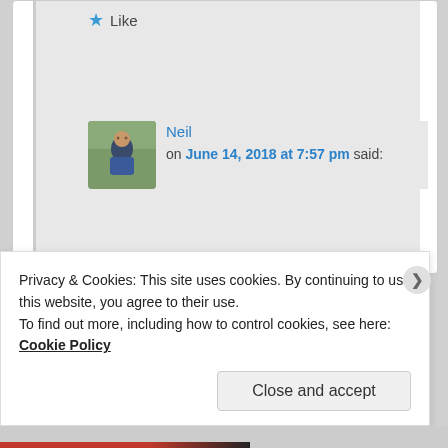★ Like
Neil on June 14, 2018 at 7:57 pm said:
Privacy & Cookies: This site uses cookies. By continuing to use this website, you agree to their use.
To find out more, including how to control cookies, see here: Cookie Policy
Close and accept